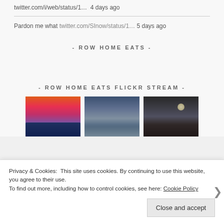twitter.com/i/web/status/1.... 4 days ago
Pardon me what twitter.com/SInow/status/1... 5 days ago
- ROW HOME EATS -
- ROW HOME EATS FLICKR STREAM -
[Figure (photo): Three Flickr stream photos: a dramatic sunset with red/pink/purple sky over dark silhouetted mountains; a stormy ocean scene with lightning/storm clouds; a person on coastal cliffs at night with moon]
Privacy & Cookies: This site uses cookies. By continuing to use this website, you agree to their use.
To find out more, including how to control cookies, see here: Cookie Policy
Close and accept